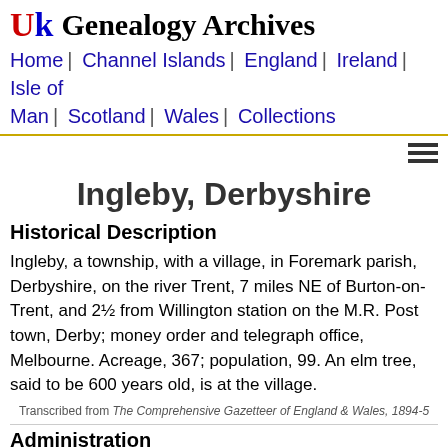UK Genealogy Archives — Home | Channel Islands | England | Ireland | Isle of Man | Scotland | Wales | Collections
Ingleby, Derbyshire
Historical Description
Ingleby, a township, with a village, in Foremark parish, Derbyshire, on the river Trent, 7 miles NE of Burton-on-Trent, and 2½ from Willington station on the M.R. Post town, Derby; money order and telegraph office, Melbourne. Acreage, 367; population, 99. An elm tree, said to be 600 years old, is at the village.
Transcribed from The Comprehensive Gazetteer of England & Wales, 1894-5
Administration